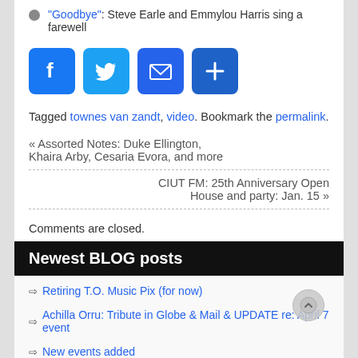"Goodbye": Steve Earle and Emmylou Harris sing a farewell
[Figure (infographic): Social share buttons: Facebook (blue f), Twitter (blue bird), Email (blue envelope), More/Plus (blue plus sign)]
Tagged townes van zandt, video. Bookmark the permalink.
« Assorted Notes: Duke Ellington, Khaira Arby, Cesaria Evora, and more
CIUT FM: 25th Anniversary Open House and party: Jan. 15 »
Comments are closed.
Newest BLOG posts
Retiring T.O. Music Pix (for now)
Achilla Orru: Tribute in Globe & Mail & UPDATE re: April 7 event
New events added
RIP King Achilla Orru Apaa-idomo